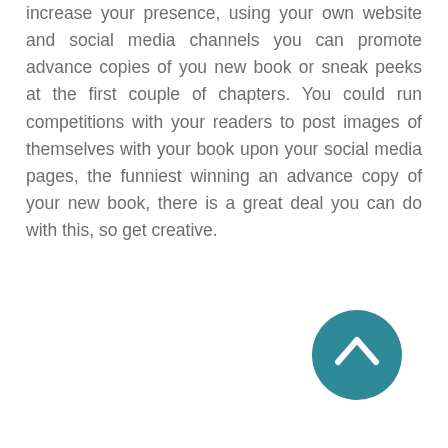increase your presence, using your own website and social media channels you can promote advance copies of you new book or sneak peeks at the first couple of chapters. You could run competitions with your readers to post images of themselves with your book upon your social media pages, the funniest winning an advance copy of your new book, there is a great deal you can do with this, so get creative.
[Figure (other): A teal/dark cyan circular button with an upward-pointing chevron/arrow icon in white, positioned in the lower right area of the page.]